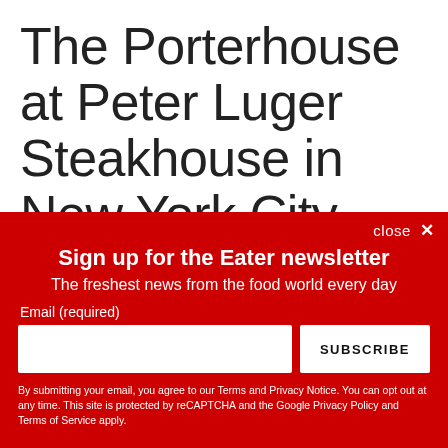The Porterhouse at Peter Luger Steakhouse in New York City
Welcome to Eater Elements, a series that explores the ideas and ingredients of noteworthy restaurant dishes
close ✕
Sign up for the Eater newsletter
The freshest news from the food world every day
Email (required)
SUBSCRIBE
By submitting your email, you agree to our Terms and Privacy Notice. You can opt out at any time. This site is protected by reCAPTCHA and the Google Privacy Policy and Terms of Service apply.